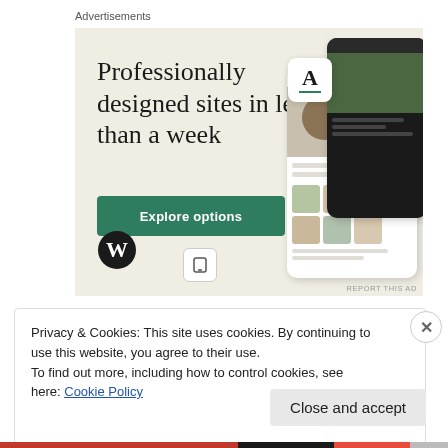Advertisements
[Figure (illustration): WordPress advertisement banner with beige background. Large serif text reads 'Professionally designed sites in less than a week'. Green 'Explore options' button. WordPress logo bottom left. Website mockup screenshots on the right side.]
REPORT THIS AD
Privacy & Cookies: This site uses cookies. By continuing to use this website, you agree to their use.
To find out more, including how to control cookies, see here: Cookie Policy
Close and accept